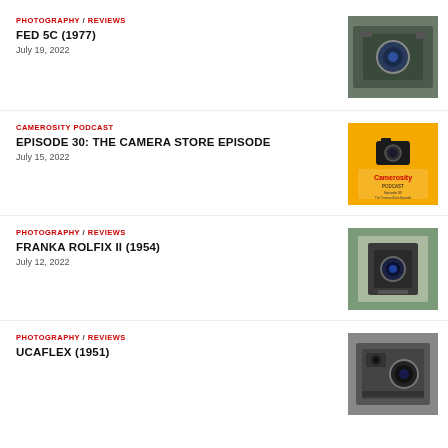PHOTOGRAPHY / REVIEWS — FED 5C (1977) — July 19, 2022
CAMEROSITY PODCAST — EPISODE 30: THE CAMERA STORE EPISODE — July 15, 2022
PHOTOGRAPHY / REVIEWS — FRANKA ROLFIX II (1954) — July 12, 2022
PHOTOGRAPHY / REVIEWS — UCAFLEX (1951)